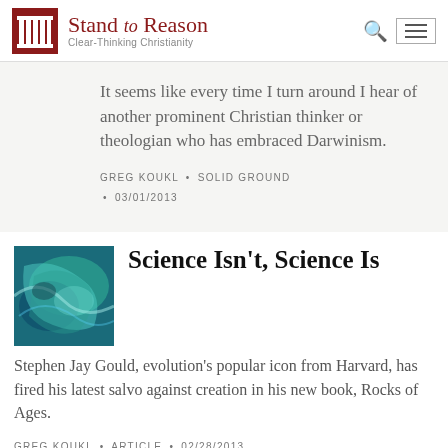Stand to Reason — Clear-Thinking Christianity
It seems like every time I turn around I hear of another prominent Christian thinker or theologian who has embraced Darwinism.
GREG KOUKL • SOLID GROUND • 03/01/2013
[Figure (photo): Abstract blue-green swirling image, possibly a satellite or microscope photo]
Science Isn't, Science Is
Stephen Jay Gould, evolution's popular icon from Harvard, has fired his latest salvo against creation in his new book, Rocks of Ages.
GREG KOUKL • ARTICLE • 02/28/2013